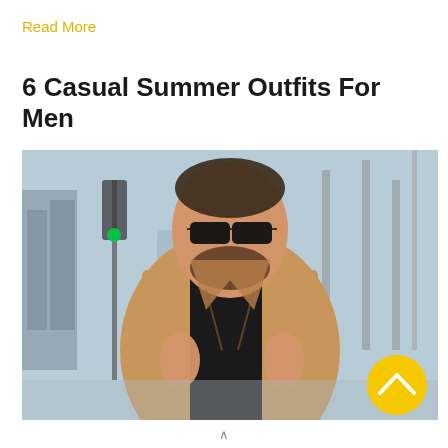Read More
6 Casual Summer Outfits For Men
[Figure (photo): A stylish man wearing sunglasses, a black turtleneck, and a tan/camel overcoat holding lapels, outdoors on a city street with blurred background including traffic lights and trees.]
^